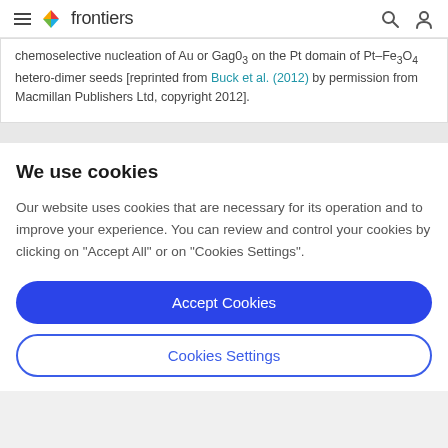frontiers
chemoselective nucleation of Au or Gag03 on the Pt domain of Pt–Fe3O4 hetero-dimer seeds [reprinted from Buck et al. (2012) by permission from Macmillan Publishers Ltd, copyright 2012].
We use cookies
Our website uses cookies that are necessary for its operation and to improve your experience. You can review and control your cookies by clicking on "Accept All" or on "Cookies Settings".
Accept Cookies
Cookies Settings